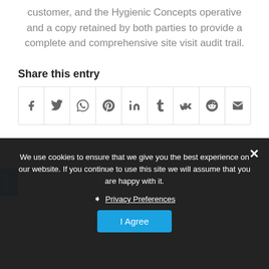customer, and the Hygienic Concepts operative and a copy retained by both parties to provide a complete and comprehensive site visit audit trail.
Share this entry
[Figure (other): Social share icons row: Facebook, Twitter, WhatsApp, Pinterest, LinkedIn, Tumblr, VK, Reddit, Email]
We use cookies to ensure that we give you the best experience on our website. If you continue to use this site we will assume that you are happy with it.
❯ Privacy Preferences
I Agree